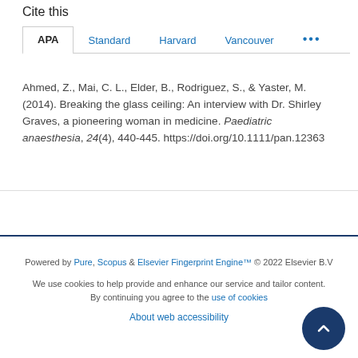Cite this
APA | Standard | Harvard | Vancouver | ...
Ahmed, Z., Mai, C. L., Elder, B., Rodriguez, S., & Yaster, M. (2014). Breaking the glass ceiling: An interview with Dr. Shirley Graves, a pioneering woman in medicine. Paediatric anaesthesia, 24(4), 440-445. https://doi.org/10.1111/pan.12363
Powered by Pure, Scopus & Elsevier Fingerprint Engine™ © 2022 Elsevier B.V
We use cookies to help provide and enhance our service and tailor content. By continuing you agree to the use of cookies
About web accessibility